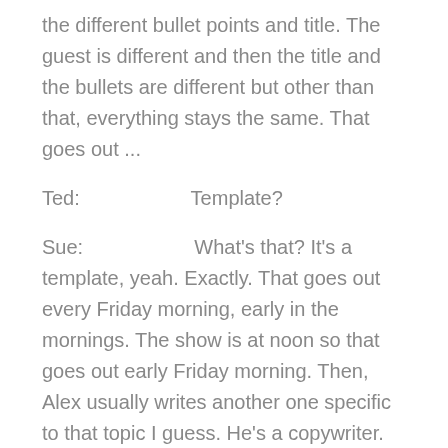the different bullet points and title. The guest is different and then the title and the bullets are different but other than that, everything stays the same. That goes out ...
Ted:                    Template?
Sue:                    What's that? It's a template, yeah. Exactly. That goes out every Friday morning, early in the mornings. The show is at noon so that goes out early Friday morning. Then, Alex usually writes another one specific to that topic I guess. He's a copywriter. He just pumps out these e-mails like it's nothing. I like the template. The template is something that I